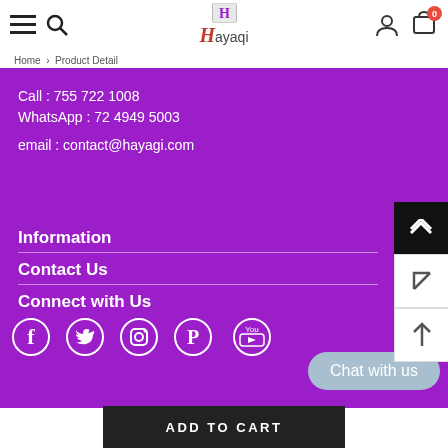Hayaqi — navigation header with hamburger menu, search, logo, user and cart icons
Home > Product Detail
Call : 755 722 1008
WhatsApp : 72 4949 5003
email : contact@hayagi.com
Information
Contact Us
Connect with Us
[Figure (infographic): Social media icons: Facebook, Twitter, Instagram, Pinterest, YouTube]
Chat with us
ADD TO CART